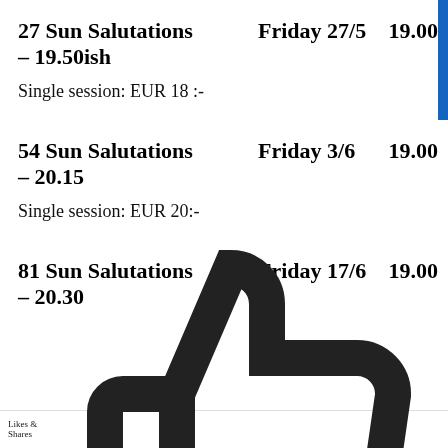27 Sun Salutations    Friday 27/5    19.00 – 19.50ish
Single session: EUR 18 :-
54 Sun Salutations    Friday 3/6    19.00 – 20.15
Single session: EUR 20:-
81 Sun Salutations    Friday 17/6    19.00 – 20.30
Likes & Shares [social icons: thumbs up, twitter, google+, pinterest, linkedin, email, whatsapp, crown]